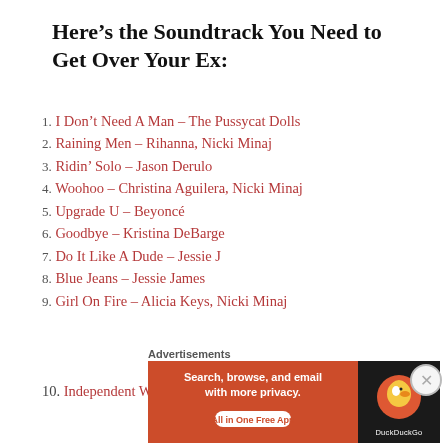Here’s the Soundtrack You Need to Get Over Your Ex:
1. I Don’t Need A Man – The Pussycat Dolls
2. Raining Men – Rihanna, Nicki Minaj
3. Ridin’ Solo – Jason Derulo
4. Woohoo – Christina Aguilera, Nicki Minaj
5. Upgrade U – Beyoncé
6. Goodbye – Kristina DeBarge
7. Do It Like A Dude – Jessie J
8. Blue Jeans – Jessie James
9. Girl On Fire – Alicia Keys, Nicki Minaj
10. Independent Women, Pt. 1 – Destiny’s Child
Advertisements
[Figure (infographic): DuckDuckGo advertisement banner: orange left panel reading 'Search, browse, and email with more privacy. All in One Free App' and dark right panel with DuckDuckGo logo]